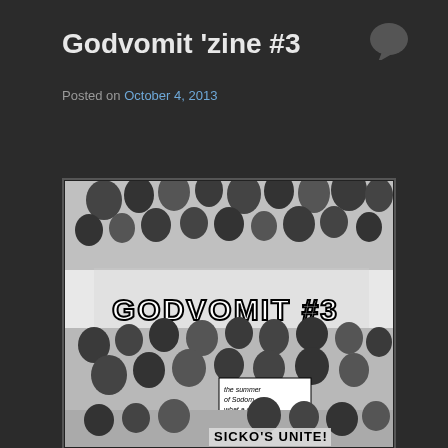Godvomit 'zine #3
Posted on October 4, 2013
[Figure (illustration): Black and white hand-drawn cover of Godvomit zine #3 featuring dense grotesque crowd illustration with text 'GODVOMIT #3', 'the summer of Sodom what a great time!', and 'SICKO'S UNITE!']